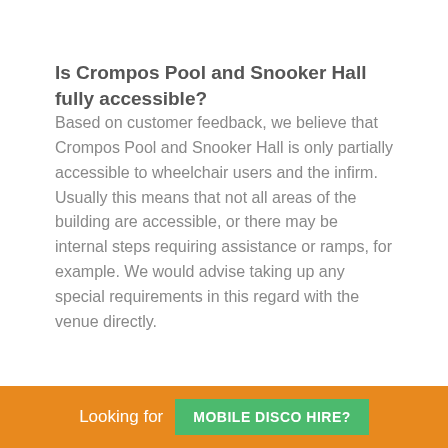Is Crompos Pool and Snooker Hall fully accessible?
Based on customer feedback, we believe that Crompos Pool and Snooker Hall is only partially accessible to wheelchair users and the infirm. Usually this means that not all areas of the building are accessible, or there may be internal steps requiring assistance or ramps, for example. We would advise taking up any special requirements in this regard with the venue directly.
Looking for MOBILE DISCO HIRE?